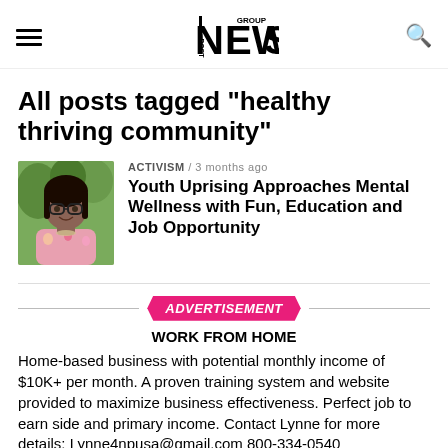Post News Group
All posts tagged "healthy thriving community"
[Figure (photo): Headshot photo of a woman with glasses and floral top]
ACTIVISM / 3 months ago
Youth Uprising Approaches Mental Wellness with Fun, Education and Job Opportunity
ADVERTISEMENT
WORK FROM HOME
Home-based business with potential monthly income of $10K+ per month. A proven training system and website provided to maximize business effectiveness. Perfect job to earn side and primary income. Contact Lynne for more details: Lynne4npusa@gmail.com 800-334-0540
[Figure (logo): Blue and green triangle/arrow logo at bottom]